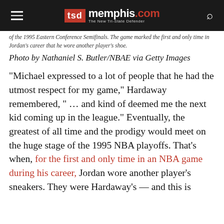TSD memphis.com — The New Tri-State Defender
of the 1995 Eastern Conference Semifinals. The game marked the first and only time in Jordan's career that he wore another player's shoe.
Photo by Nathaniel S. Butler/NBAE via Getty Images
“Michael expressed to a lot of people that he had the utmost respect for my game,” Hardaway remembered, “ … and kind of deemed me the next kid coming up in the league.” Eventually, the greatest of all time and the prodigy would meet on the huge stage of the 1995 NBA playoffs. That’s when, for the first and only time in an NBA game during his career, Jordan wore another player’s sneakers. They were Hardaway’s — and this is